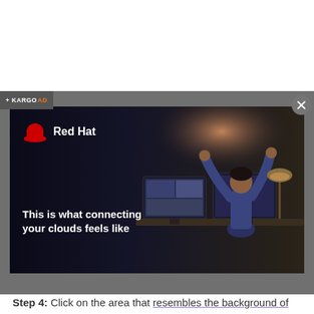Step 3
Clone.
[Figure (screenshot): Red Hat advertisement overlay with text 'This is what connecting your clouds feels like' and KARGO AD label. Shows a person celebrating at a desk with computer monitors in a dark room.]
Step 4: Click on the area that resembles the background of